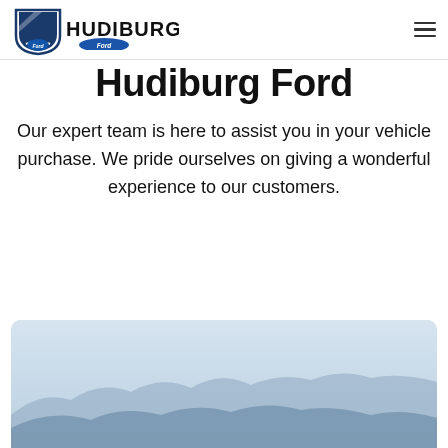[Figure (logo): Hudiburg Ford dealership logo with shield icon and Ford oval badge]
Hudiburg Ford
Our expert team is here to assist you in your vehicle purchase. We pride ourselves on giving a wonderful experience to our customers.
[Figure (photo): Light blue sky with faint mountain silhouette landscape photo, partially cropped]